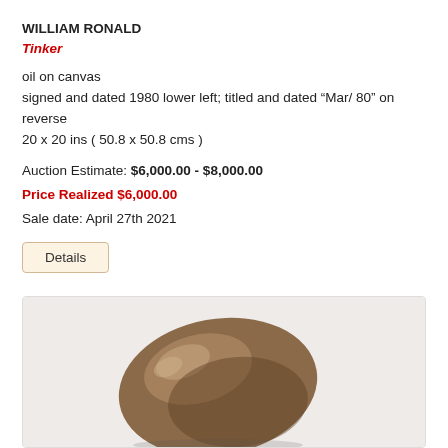WILLIAM RONALD
Tinker
oil on canvas
signed and dated 1980 lower left; titled and dated “Mar/ 80” on reverse
20 x 20 ins ( 50.8 x 50.8 cms )
Auction Estimate: $6,000.00 - $8,000.00
Price Realized $6,000.00
Sale date: April 27th 2021
Details
[Figure (photo): Photograph of a bronze or dark metallic smooth rounded sculptural form resembling an abstract organic shape, against a light gray background.]